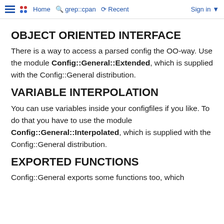Home  grep::cpan  Recent  Sign in
OBJECT ORIENTED INTERFACE
There is a way to access a parsed config the OO-way. Use the module Config::General::Extended, which is supplied with the Config::General distribution.
VARIABLE INTERPOLATION
You can use variables inside your configfiles if you like. To do that you have to use the module Config::General::Interpolated, which is supplied with the Config::General distribution.
EXPORTED FUNCTIONS
Config::General exports some functions too, which